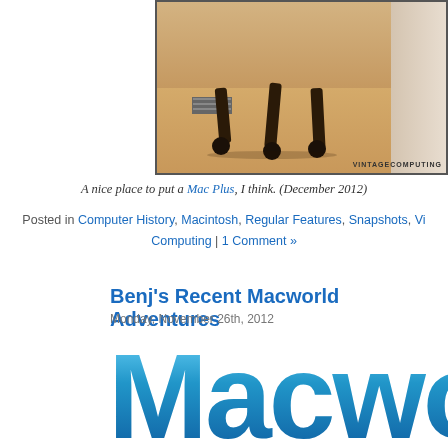[Figure (photo): Bottom portion of a brown leather office chair on a wood floor, with a vent and baseboard visible. Watermark reads 'VINTAGECOMPUTING' in bottom right.]
A nice place to put a Mac Plus, I think. (December 2012)
Posted in Computer History, Macintosh, Regular Features, Snapshots, Vi… Computing | 1 Comment »
Benj's Recent Macworld Adventures
Monday, November 26th, 2012
[Figure (logo): Macworld logo in large blue gradient text, partially cropped on the right]
As long time readers of VC&G know, I usually post short entries about my no… writing activities on this blog so you can enjoy them.
Recently, I've been so engrossed in writing Macworld articles that I have neg…